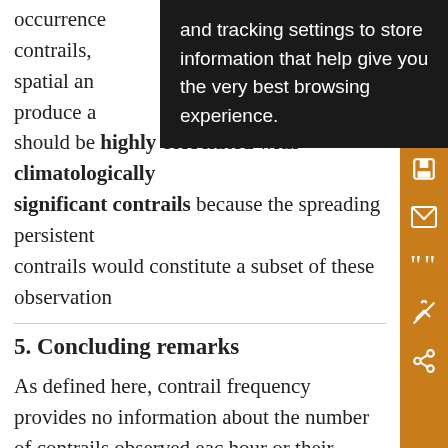occurrence... contrails, ...the spatial an... produce a...they should be highly correlated with climatologically significant contrails because the spreading persistent contrails would constitute a subset of these observation
5. Concluding remarks
As defined here, contrail frequency provides no information about the number of contrails observed each hour or their thickness and areal coverage. An increase in the number of flights may result in more contrails each hour rather than more hours with contrails. The number of hours when persistent contrails can form is limited by the amount of time that the formation conditions exist over a